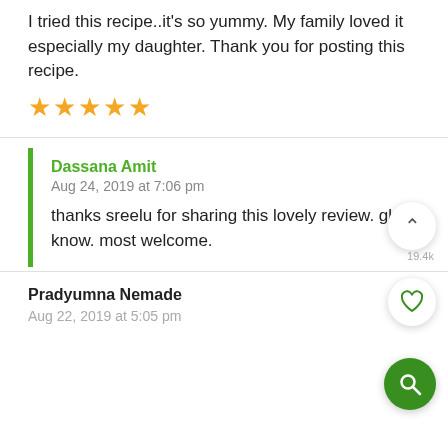I tried this recipe..it's so yummy. My family loved it especially my daughter. Thank you for posting this recipe.
★★★★★
Dassana Amit
Aug 24, 2019 at 7:06 pm
thanks sreelu for sharing this lovely review. glad to know. most welcome.
Pradyumna Nemade
Aug 22, 2019 at 5:05 pm